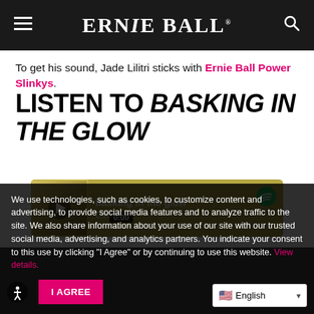ERNIE BALL
To get his sound, Jade Lilitri sticks with Ernie Ball Power Slinkys.
LISTEN TO BASKING IN THE GLOW
[Figure (screenshot): Spotify embedded player showing 'basking in the glow' by Osca, with album art, play button, and 0:00 timestamp, on an olive/gold background with Spotify logo]
We use technologies, such as cookies, to customize content and advertising, to provide social media features and to analyze traffic to the site. We also share information about your use of our site with our trusted social media, advertising, and analytics partners. You indicate your consent to this use by clicking "I Agree" or by continuing to use this website. View details.